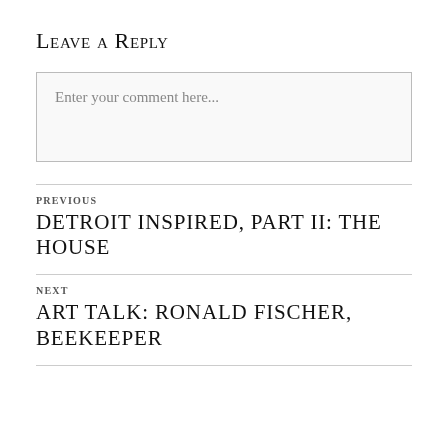Leave a Reply
Enter your comment here...
PREVIOUS
DETROIT INSPIRED, PART II: THE HOUSE
NEXT
ART TALK: RONALD FISCHER, BEEKEEPER